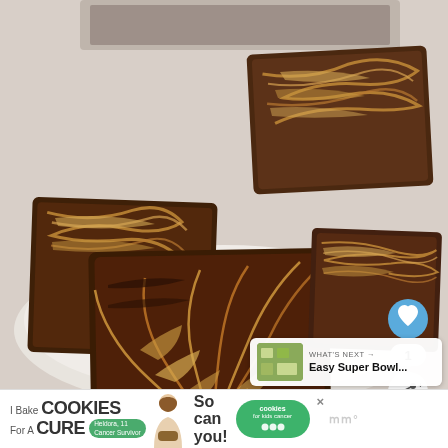[Figure (photo): Photograph of multiple chocolate peanut butter swirl brownies stacked on a white plate, showing marbled caramel and chocolate patterns on top, with a baking pan visible in the background.]
[Figure (infographic): UI overlay elements: a blue circular heart/favorite button, a like count of '1', and a white circular share button with a share icon.]
WHAT'S NEXT → Easy Super Bowl...
[Figure (screenshot): Advertisement banner reading 'I Bake COOKIES For A CURE' with a woman figure, 'Heldora, 11 Cancer Survivor' badge, 'So can you!' text, and a green 'cookies for kids cancer' pill logo, with a close X button and stylized M logo.]